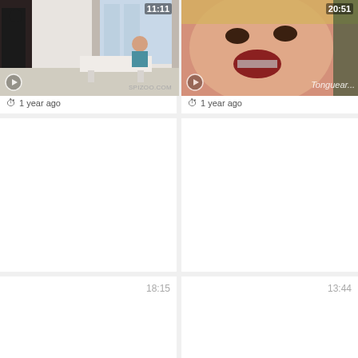[Figure (screenshot): Video thumbnail grid showing 6 video cards in a 2-column layout. Top row: two video thumbnails with preview images - left shows couple in modern interior (SPIZOO.COM watermark), right shows close-up face. Middle row: two blank white cards. Bottom row: two white cards with duration timestamps 18:15 and 13:44.]
1 year ago
1 year ago
1 year ago
1 year ago